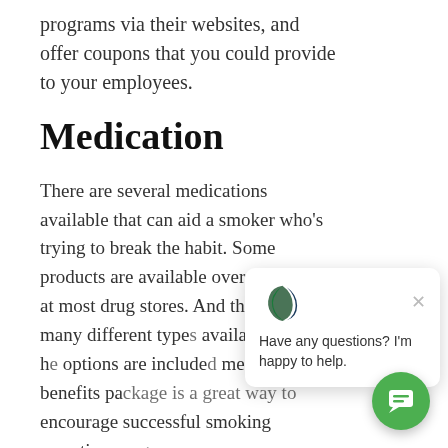programs via their websites, and offer coupons that you could provide to your employees.
Medication
There are several medications available that can aid a smoker who's trying to break the habit. Some products are available over the counter at most drug stores. And there are many different types available that can help. options are included medical benefits package is a great way to encourage successful smoking cessation programs.
Giving employees a